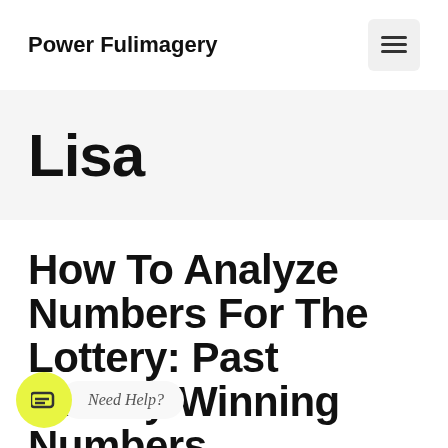Power Fulimagery
Lisa
How To Analyze Numbers For The Lottery: Past Lottery Winning Numbers